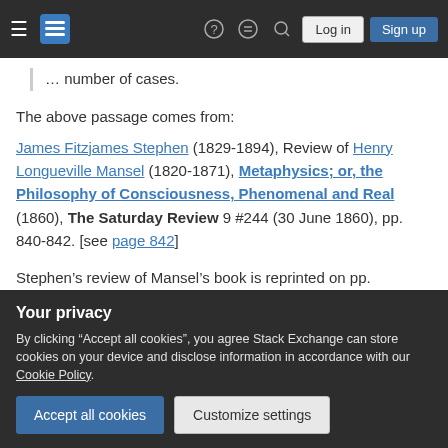Stack Exchange navigation bar with Log in and Sign up buttons
number of cases.
The above passage comes from:
James Fitzjames Stephen (1829-1894), Review of Henry Longueville Mansel (1820-1871), Metaphysics; or, the Philosophy of Consciousness, Phenomenal and Real (1860), The Saturday Review 9 #244 (30 June 1860), pp. 840-842. [see page 842]
Stephen’s review of Mansel’s book is reprinted on pp.
Your privacy
By clicking “Accept all cookies”, you agree Stack Exchange can store cookies on your device and disclose information in accordance with our Cookie Policy.
would extend my answer by adding a couple of items.